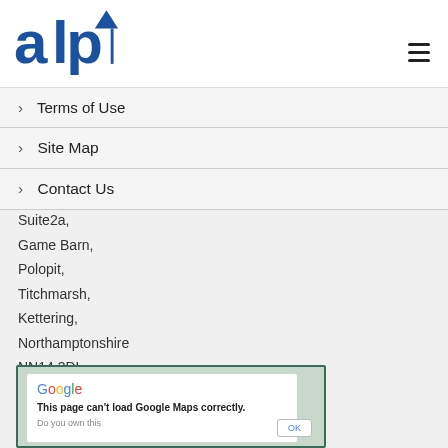[Figure (logo): ALP company logo with blue text and triangle accent mark]
> Terms of Use
> Site Map
> Contact Us
Suite2a,
Game Barn,
Polopit,
Titchmarsh,
Kettering,
Northamptonshire
NN14 3DL
[Figure (screenshot): Google Maps error dialog: 'This page can't load Google Maps correctly. Do you own this' with OK button]